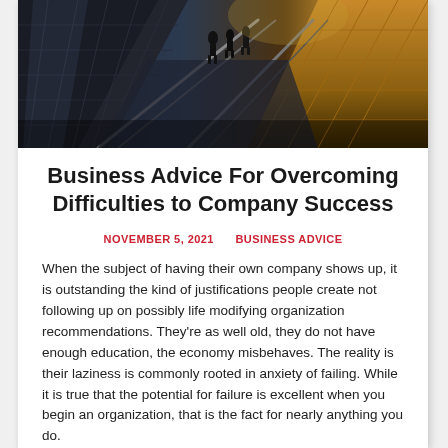[Figure (photo): People walking up stairs on an escalator or staircase in an urban setting, viewed from a low angle, with modern glass and stone architecture and warm sunlight visible.]
Business Advice For Overcoming Difficulties to Company Success
NOVEMBER 5, 2021    BUSINESS ADVICE
When the subject of having their own company shows up, it is outstanding the kind of justifications people create not following up on possibly life modifying organization recommendations. They're as well old, they do not have enough education, the economy misbehaves. The reality is their laziness is commonly rooted in anxiety of failing. While it is true that the potential for failure is excellent when you begin an organization, that is the fact for nearly anything you do.